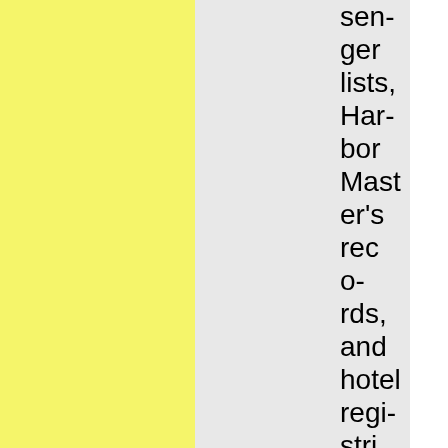senger lists, Harbor Master's records, and hotel registries. I pared down my lists